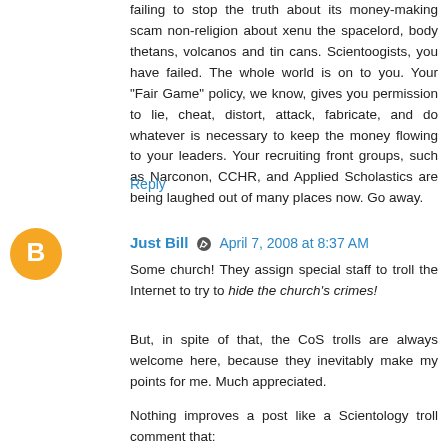failing to stop the truth about its money-making scam non-religion about xenu the spacelord, body thetans, volcanos and tin cans. Scientoogists, you have failed. The whole world is on to you. Your "Fair Game" policy, we know, gives you permission to lie, cheat, distort, attack, fabricate, and do whatever is necessary to keep the money flowing to your leaders. Your recruiting front groups, such as Narconon, CCHR, and Applied Scholastics are being laughed out of many places now. Go away.
Reply
Just Bill  April 7, 2008 at 8:37 AM
Some church! They assign special staff to troll the Internet to try to hide the church's crimes!
But, in spite of that, the CoS trolls are always welcome here, because they inevitably make my points for me. Much appreciated.
Nothing improves a post like a Scientology troll comment that: